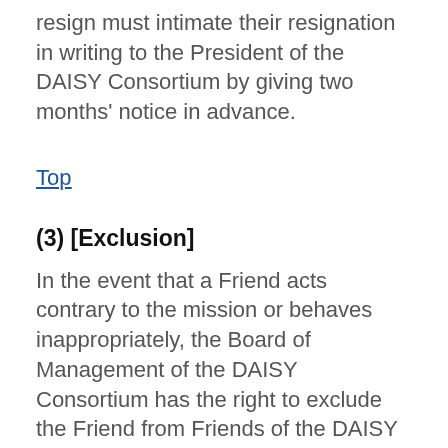resign must intimate their resignation in writing to the President of the DAISY Consortium by giving two months' notice in advance.
Top
(3) [Exclusion]
In the event that a Friend acts contrary to the mission or behaves inappropriately, the Board of Management of the DAISY Consortium has the right to exclude the Friend from Friends of the DAISY Consortium.